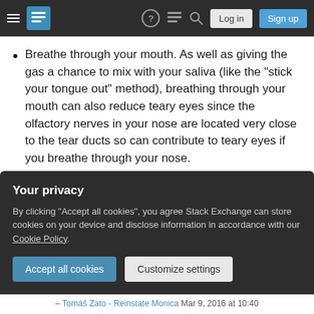Stack Exchange navigation bar with hamburger menu, logo, help, chat, search, Log in and Sign up buttons
Breathe through your mouth. As well as giving the gas a chance to mix with your saliva (like the "stick your tongue out" method), breathing through your mouth can also reduce teary eyes since the olfactory nerves in your nose are located very close to the tear ducts so can contribute to teary eyes if you breathe through your nose.
Share   |   edited Jun 18, 2020 at 8:33
Improve this answer   |   Community Bot
Your privacy
By clicking "Accept all cookies", you agree Stack Exchange can store cookies on your device and disclose information in accordance with our Cookie Policy.
Accept all cookies   Customize settings
– Tomáš Zato - Reinstate Monica  Mar 9, 2016 at 10:40